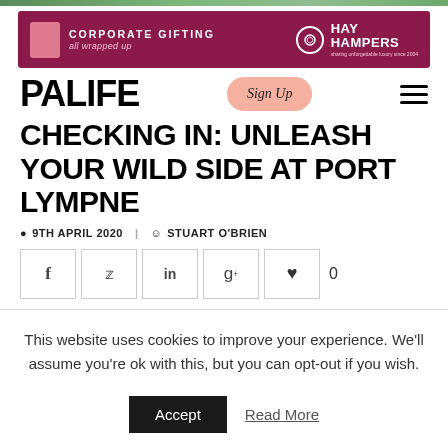[Figure (photo): Top strip image showing outdoor/nature scene]
[Figure (infographic): Hay Hampers corporate gifting advertisement banner with pink product and dark magenta background]
[Figure (logo): PALIFE website logo with Sign Up button and hamburger menu icon]
CHECKING IN: UNLEASH YOUR WILD SIDE AT PORT LYMPNE
9TH APRIL 2020   STUART O'BRIEN
[Figure (infographic): Social sharing icons: Facebook, Twitter, LinkedIn, Google+, heart/like with count 0]
This website uses cookies to improve your experience. We'll assume you're ok with this, but you can opt-out if you wish.
Accept   Read More